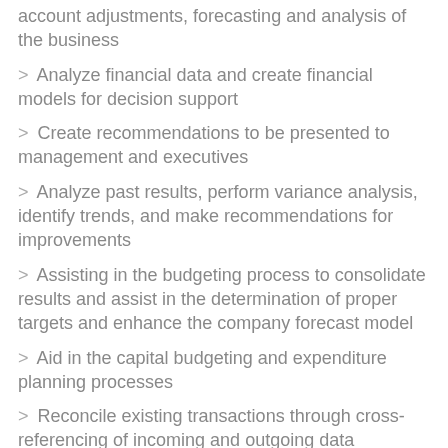account adjustments, forecasting and analysis of the business
> Analyze financial data and create financial models for decision support
> Create recommendations to be presented to management and executives
> Analyze past results, perform variance analysis, identify trends, and make recommendations for improvements
> Assisting in the budgeting process to consolidate results and assist in the determination of proper targets and enhance the company forecast model
> Aid in the capital budgeting and expenditure planning processes
> Reconcile existing transactions through cross-referencing of incoming and outgoing data
> Preparation of Cost Benefit Analysis